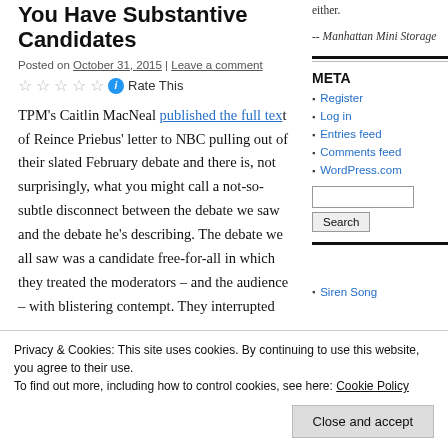You Have Substantive Candidates
Posted on October 31, 2015 | Leave a comment
Rate This
TPM’s Caitlin MacNeal published the full text of Reince Priebus’ letter to NBC pulling out of their slated February debate and there is, not surprisingly, what you might call a not-so-subtle disconnect between the debate we saw and the debate he’s describing. The debate we all saw was a candidate free-for-all in which they treated the moderators – and the audience – with blistering contempt. They interrupted
either.
-- Manhattan Mini Storage
META
Register
Log in
Entries feed
Comments feed
WordPress.com
Search
Privacy & Cookies: This site uses cookies. By continuing to use this website, you agree to their use.
To find out more, including how to control cookies, see here: Cookie Policy
Close and accept
Siren Song